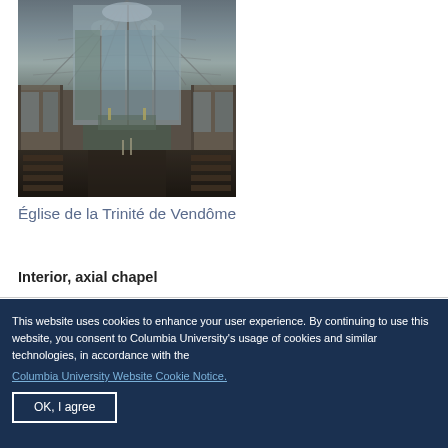[Figure (photo): Interior photograph of Église de la Trinité de Vendôme showing Gothic vaulted ceiling, tall stained glass windows, and nave with wooden pews]
Église de la Trinité de Vendôme
Interior, axial chapel
This website uses cookies to enhance your user experience. By continuing to use this website, you consent to Columbia University's usage of cookies and similar technologies, in accordance with the
Columbia University Website Cookie Notice.
OK, I agree